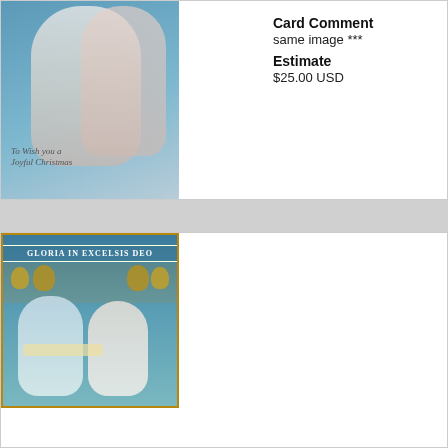[Figure (illustration): Vintage Christmas postcard with angel figure wearing white and red robes against a blue background, script text reading 'To Wish you a Joyful Christmas']
Card Comment
same image ***
Estimate
$25.00 USD
TO WISH YOU A JOYFUL CHRISTMA
Set Title
CHRISTMAS angels
Set Comment
gilt, u/b, CHROMOGRAP image comes with two d RAPHAEL TUCK & SON YEAR 1904/1905 catalo
Card Comment
same image ***
Estimate
$10.00 USD
[Figure (illustration): Vintage Christmas postcard with 'GLORIA IN EXCELSIS DEO' banner, two angels in robes holding scrolls and greenery, bells in background]